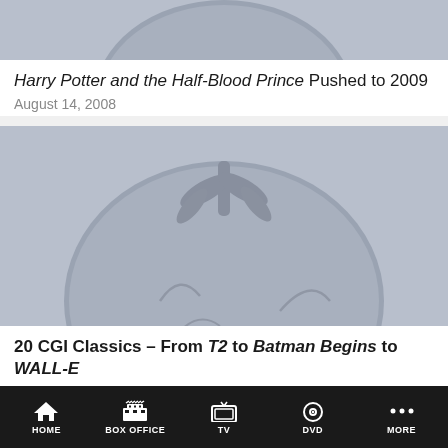[Figure (illustration): Partially visible Rotten Tomatoes tomato logo placeholder image, gray background, cropped at top]
Harry Potter and the Half-Blood Prince Pushed to 2009
August 14, 2008
[Figure (illustration): Rotten Tomatoes tomato logo placeholder image, gray background, full tomato with stem and leaves visible]
20 CGI Classics – From T2 to Batman Begins to WALL-E
HOME  BOX OFFICE  TV  DVD  MORE